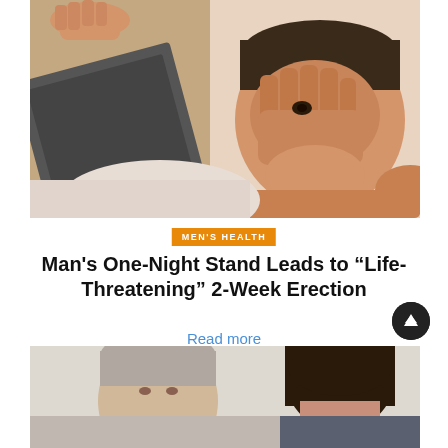[Figure (photo): A man lying down covering his face with one hand while holding a laptop or tablet with the other hand, shot from above at an angle. The image shows distress or embarrassment.]
MEN'S HEALTH
Man's One-Night Stand Leads to “Life-Threatening” 2-Week Erection
Read more
[Figure (photo): Partial view of two men, one older with gray hair and one younger with dark hair, appearing to be in conversation or consultation.]